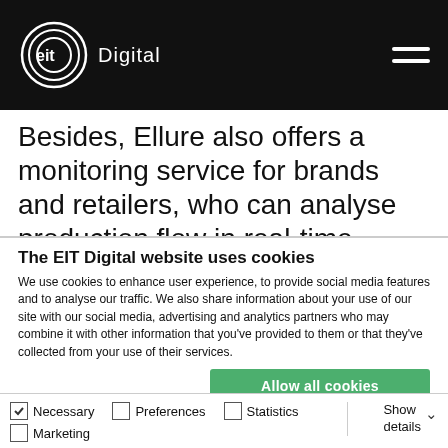EIT Digital
Besides, Ellure also offers a monitoring service for brands and retailers, who can analyse production flow in real-time.
The EIT Digital website uses cookies
We use cookies to enhance user experience, to provide social media features and to analyse our traffic. We also share information about your use of our site with our social media, advertising and analytics partners who may combine it with other information that you've provided to them or that they've collected from your use of their services.
Allow all cookies
Allow selection
Use necessary cookies only
Necessary  Preferences  Statistics  Marketing  Show details